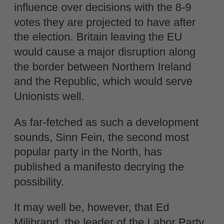influence over decisions with the 8-9 votes they are projected to have after the election. Britain leaving the EU would cause a major disruption along the border between Northern Ireland and the Republic, which would serve Unionists well.
As far-fetched as such a development sounds, Sinn Fein, the second most popular party in the North, has published a manifesto decrying the possibility.
It may well be, however, that Ed Milibrand, the leader of the Labor Party, will obtain enough votes to enter into a coalition with the Scottish Nationalist Party leader Nicola Sturgeon. With Labor projected to earn about 280 votes, the SNP's projected total of more than 45 votes would get them very close. The Nationalists in Ireland would be much happier with that outcome.
In Northern Ireland there are some very interesting